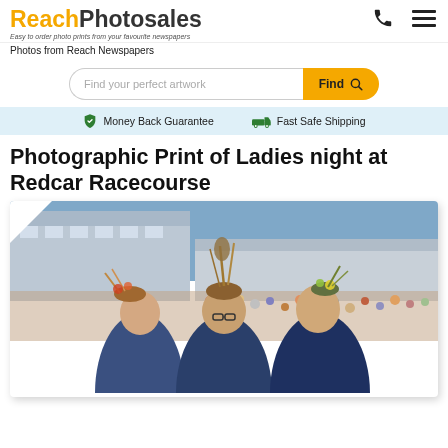[Figure (logo): ReachPhotosales logo with tagline 'Easy to order photo prints from your favourite newspapers']
Photos from Reach Newspapers
Find your perfect artwork
Money Back Guarantee
Fast Safe Shipping
Photographic Print of Ladies night at Redcar Racecourse
[Figure (photo): Three women wearing elaborate floral fascinator hats at a racecourse, dressed in navy blue outfits, with a crowd and racecourse grandstand in the background]